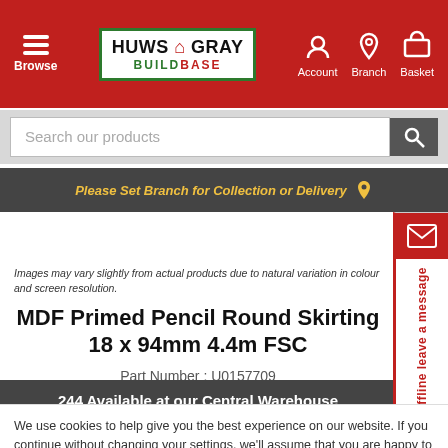[Figure (screenshot): Huws Gray Buildbase website header with logo, Browse, Account, Branch, Basket navigation]
[Figure (screenshot): Search bar with 'Search our products' placeholder and search button]
Please Set Branch for Collection or Delivery
Images may vary slightly from actual products due to natural variation in colour and screen resolution.
MDF Primed Pencil Round Skirting 18 x 94mm 4.4m FSC
Part Number : U0157709
244 Available at our Central Warehouse
We use cookies to help give you the best experience on our website. If you continue without changing your settings, we'll assume that you are happy to receive all cookies on the website. However, you can read our Cookie Policy here.
Accept and Continue